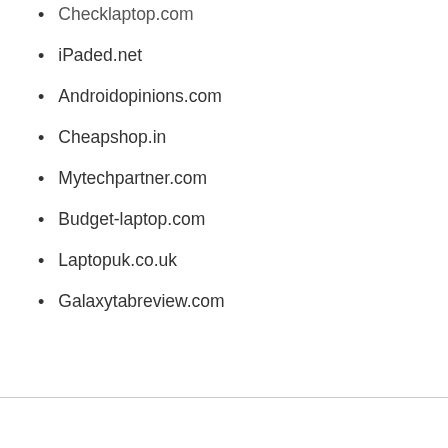Checklaptop.com
iPaded.net
Androidopinions.com
Cheapshop.in
Mytechpartner.com
Budget-laptop.com
Laptopuk.co.uk
Galaxytabreview.com